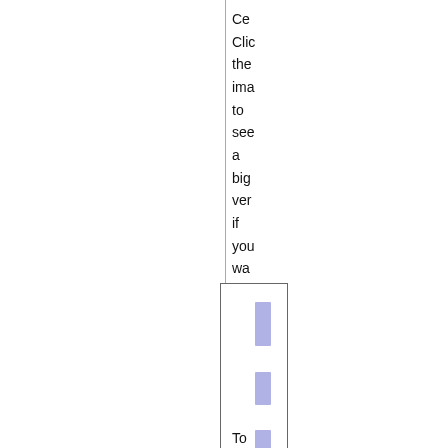Ce
Clic
the
ima
to
see
a
big
ver
if
you
wa
[Figure (bar-chart): A narrow vertical bar chart showing three horizontal bars of decreasing length, rendered in light blue/lavender color, inside a bordered box.]
To